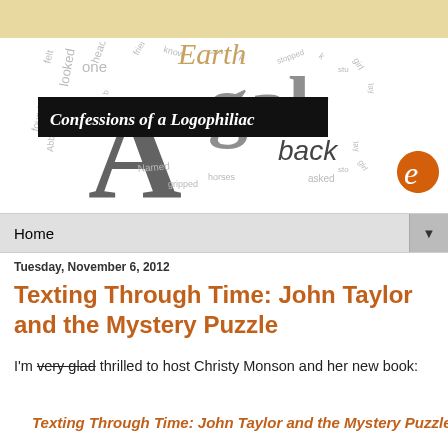[Figure (illustration): Word cloud header image for blog 'Confessions of a Logophiliac' with many words in various sizes, colors, and orientations, with a black banner containing the blog title in white italic text, and an Edublogs logo (orange 'e') to the right]
Home
Tuesday, November 6, 2012
Texting Through Time: John Taylor and the Mystery Puzzle
I'm very glad thrilled to host Christy Monson and her new book:
Texting Through Time: John Taylor and the Mystery Puzzle